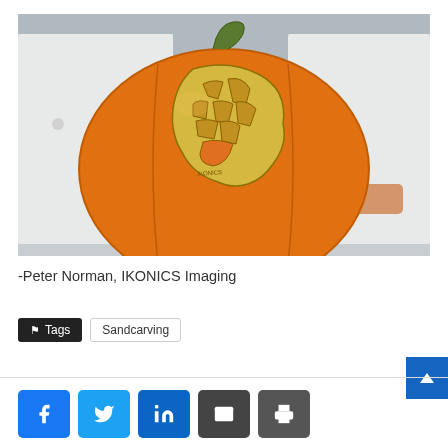[Figure (photo): A large orange pumpkin with a map/globe design carved and etched into its surface, held by hands in white lab coats, on a lab table background. The etching shows a world map or continental outline in yellow/tan tones on the orange pumpkin skin.]
-Peter Norman, IKONICS Imaging
Tags  Sandcarving
[Figure (other): Social sharing buttons: Facebook (blue), Twitter (light blue), LinkedIn (blue), Email (dark grey), Print (dark grey)]